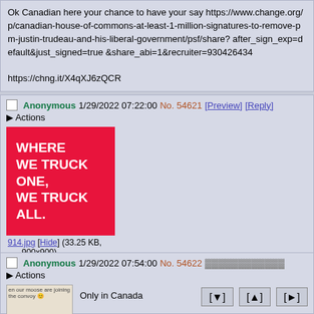Ok Canadian here your chance to have your say https://www.change.org/p/canadian-house-of-commons-at-least-1-million-signatures-to-remove-pm-justin-trudeau-and-his-liberal-government/psf/share?after&#95;sign&#95;exp&#61;default&just&#95;signed&#61;true&share&#95;abi&#61;1&recruiter&#61;930426434

https://chng.it/X4qXJ6zQCR
Anonymous 1/29/2022 07:22:00 No. 54621 [Preview] [Reply]
Actions
[Figure (illustration): Red square image with white bold text reading: WHERE WE TRUCK ONE, WE TRUCK ALL.]
914.jpg [Hide] (33.25 KB, 900x900)
Anonymous 1/29/2022 07:54:00 No. 54622
Actions
Only in Canada